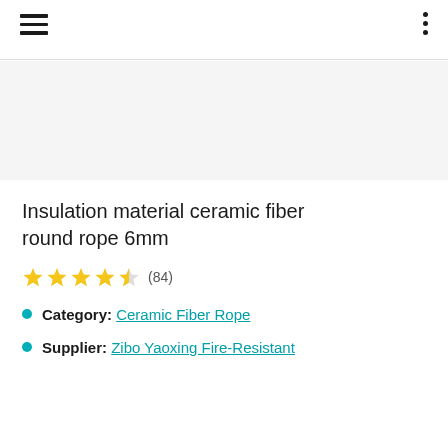Insulation material ceramic fiber round rope 6mm
★★★★½ (84)
Category: Ceramic Fiber Rope
Supplier: Zibo Yaoxing Fire-Resistant